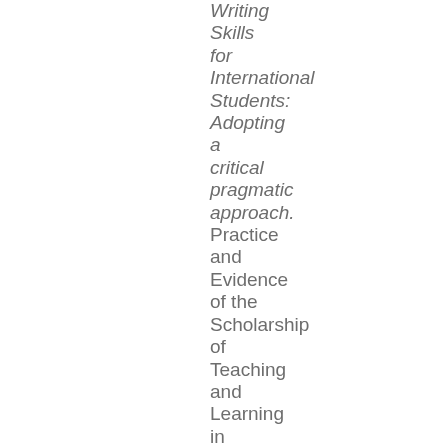Writing Skills for International Students: Adopting a critical pragmatic approach. Practice and Evidence of the Scholarship of Teaching and Learning in Higher